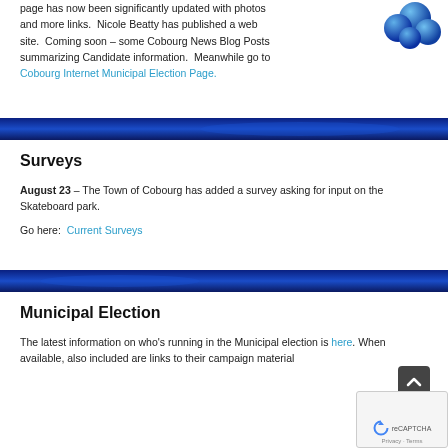page has now been significantly updated with photos and more links.  Nicole Beatty has published a web site.  Coming soon – some Cobourg News Blog Posts summarizing Candidate information.  Meanwhile go to Cobourg Internet Municipal Election Page.
[Figure (illustration): Blue sphere/ball cluster graphic in top right corner]
Surveys
August 23 – The Town of Cobourg has added a survey asking for input on the Skateboard park.
Go here:  Current Surveys
Municipal Election
The latest information on who's running in the Municipal election is here. When available, also included are links to their campaign material